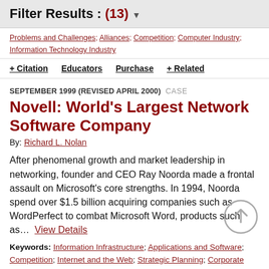Filter Results : (13) ▼
Problems and Challenges; Alliances; Competition; Computer Industry; Information Technology Industry
+ Citation   Educators   Purchase   + Related
SEPTEMBER 1999 (REVISED APRIL 2000)  CASE
Novell: World's Largest Network Software Company
By: Richard L. Nolan
After phenomenal growth and market leadership in networking, founder and CEO Ray Noorda made a frontal assault on Microsoft's core strengths. In 1994, Noorda spend over $1.5 billion acquiring companies such as WordPerfect to combat Microsoft Word, products such as...  View Details
Keywords: Information Infrastructure; Applications and Software; Competition; Internet and the Web; Strategic Planning; Corporate